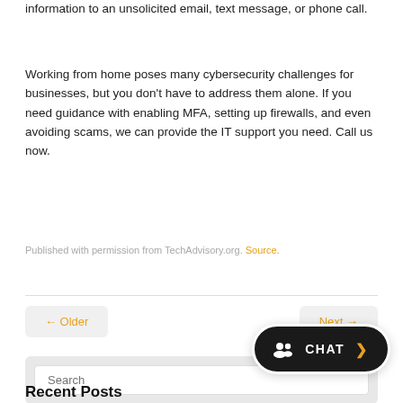information to an unsolicited email, text message, or phone call.
Working from home poses many cybersecurity challenges for businesses, but you don't have to address them alone. If you need guidance with enabling MFA, setting up firewalls, and even avoiding scams, we can provide the IT support you need. Call us now.
Published with permission from TechAdvisory.org. Source.
← Older
Next →
[Figure (other): Chat button widget — dark pill-shaped button with group icon, CHAT text in white, and orange arrow]
Search
Recent Posts